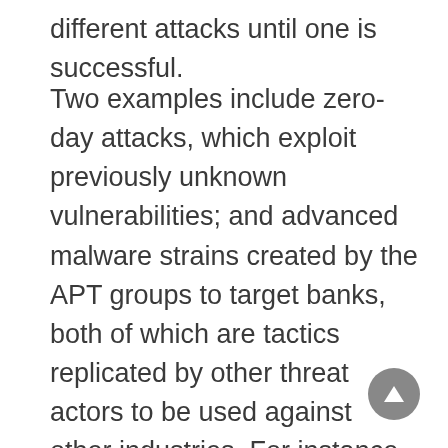different attacks until one is successful.
Two examples include zero-day attacks, which exploit previously unknown vulnerabilities; and advanced malware strains created by the APT groups to target banks, both of which are tactics replicated by other threat actors to be used against other industries. For instance, the Hermes ransomware used in the SWIFT campaign was the basis for Ryuk, which targets multiple sectors and is able to identify and encrypt network drivers and essential resources in order to extract a ransom. In September 2020, for example, healthcare institutions around the world were on high alert following a spate of debilitating Ryuk attacks